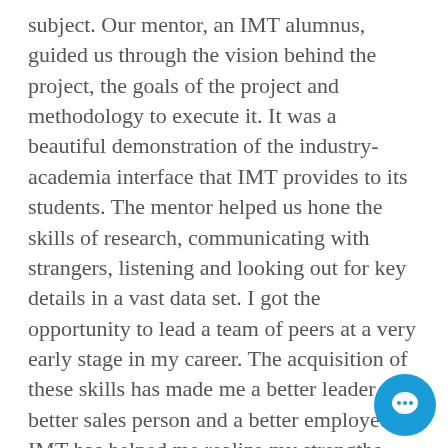subject. Our mentor, an IMT alumnus, guided us through the vision behind the project, the goals of the project and methodology to execute it. It was a beautiful demonstration of the industry-academia interface that IMT provides to its students. The mentor helped us hone the skills of research, communicating with strangers, listening and looking out for key details in a vast data set. I got the opportunity to lead a team of peers at a very early stage in my career. The acquisition of these skills has made me a better leader, a better sales person and a better employee. IMT has helped me realize my strengths, work on my weaknesses and taught me to grab every opportunity. My Long Summer Internship program at Godfrey Philips India Limited was one such opportunity. I spent 5 months working on marketing to a real brand in the International Business Division for Candy and Tea. It gave me an experience in Brand/Product Management. I worked on the product formulation, branding, packaging and pricing for the candy as well as the tea products. The products have been put into production